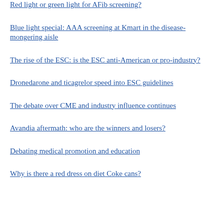Red light or green light for AFib screening?
Blue light special: AAA screening at Kmart in the disease-mongering aisle
The rise of the ESC: is the ESC anti-American or pro-industry?
Dronedarone and ticagrelor speed into ESC guidelines
The debate over CME and industry influence continues
Avandia aftermath: who are the winners and losers?
Debating medical promotion and education
Why is there a red dress on diet Coke cans?